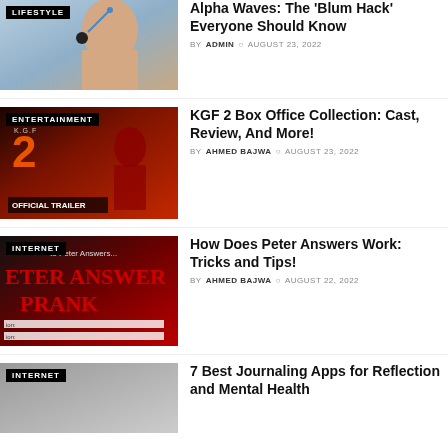[Figure (photo): Person wearing earphones/headphones, LIFESTYLE tag badge]
Alpha Waves: The 'Blum Hack' Everyone Should Know
BY ADMIN  AUGUST 23, 2022
[Figure (photo): KGF 2 Official Trailer poster, ENTERTAINMENT tag badge]
KGF 2 Box Office Collection: Cast, Review, And More!
BY AHMED BAJWA  AUGUST 23, 2022
[Figure (photo): Peter Answer Prank webpage/image, INTERNET tag badge]
How Does Peter Answers Work: Tricks and Tips!
BY AHMED BAJWA  AUGUST 22, 2022
[Figure (photo): Journaling apps thumbnail, INTERNET tag badge]
7 Best Journaling Apps for Reflection and Mental Health